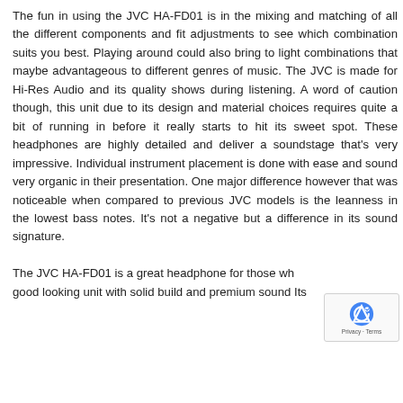The fun in using the JVC HA-FD01 is in the mixing and matching of all the different components and fit adjustments to see which combination suits you best. Playing around could also bring to light combinations that maybe advantageous to different genres of music. The JVC is made for Hi-Res Audio and its quality shows during listening. A word of caution though, this unit due to its design and material choices requires quite a bit of running in before it really starts to hit its sweet spot. These headphones are highly detailed and deliver a soundstage that's very impressive. Individual instrument placement is done with ease and sound very organic in their presentation. One major difference however that was noticeable when compared to previous JVC models is the leanness in the lowest bass notes. It's not a negative but a difference in its sound signature.
The JVC HA-FD01 is a great headphone for those wh... good looking unit with solid build and premium sound Its...